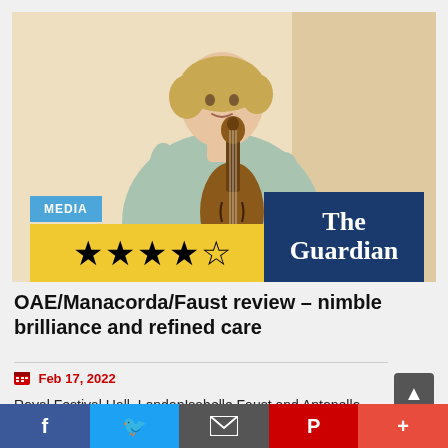[Figure (photo): Woman holding a violin against a beige/cream background, short blonde hair, light green top, with 4-star rating overlay (yellow background), MEDIA badge in blue, and The Guardian logo in dark navy blue]
OAE/Manacorda/Faust review – nimble brilliance and refined care
Feb 17, 2022
Royal Festival Hall, LondonIsabelle Faust and Antonello